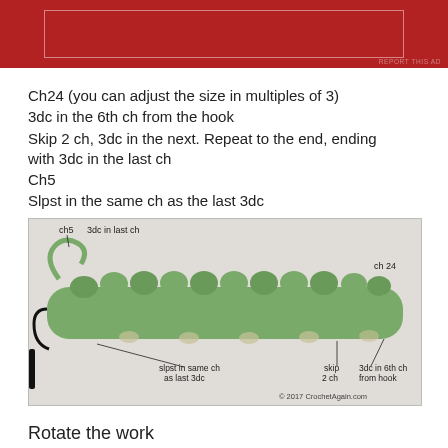[Figure (other): Red advertisement banner with white inner rectangle border]
Ch24 (you can adjust the size in multiples of 3)
3dc in the 6th ch from the hook
Skip 2 ch, 3dc in the next. Repeat to the end, ending with 3dc in the last ch
Ch5
Slpst in the same ch as the last 3dc
[Figure (photo): Photo of a crochet piece in green yarn showing the foundation row with annotations: ch5, 3dc in last ch, ch 24, slpst in same ch as last 3dc, skip 2 ch, 3dc in 6th ch from hook. Copyright 2017 CrochetAgain.com]
Rotate the work
Ch2 (this counts as the 1st stitch)